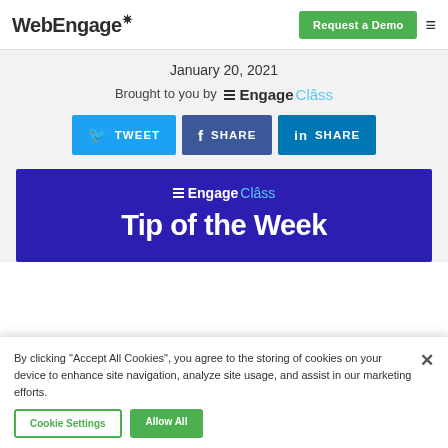[Figure (logo): WebEngage logo with navigation bar including Request a Demo button and hamburger menu]
January 20, 2021
Brought to you by EngageClass
[Figure (infographic): Three social sharing buttons: Tweet (Twitter), Share (Facebook), Share (LinkedIn)]
[Figure (infographic): Dark blue banner with EngageClass logo and title 'Tip of the Week']
By clicking "Accept All Cookies", you agree to the storing of cookies on your device to enhance site navigation, analyze site usage, and assist in our marketing efforts.